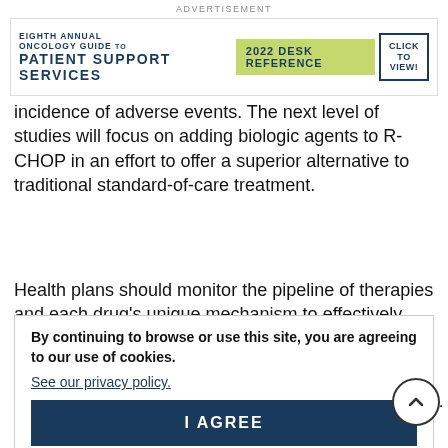ADVERTISEMENT
[Figure (other): Eighth Annual Oncology Guide to Patient Support Services - 2022 Desk Reference - Click to View advertisement banner]
incidence of adverse events. The next level of studies will focus on adding biologic agents to R-CHOP in an effort to offer a superior alternative to traditional standard-of-care treatment.
Health plans should monitor the pipeline of therapies and each drug's unique mechanism to effectively evaluate the number of newer agents on the horizon.
By continuing to browse or use this site, you are agreeing to our use of cookies. See our privacy policy. I AGREE
cytarabine in the treatment of patients with AML